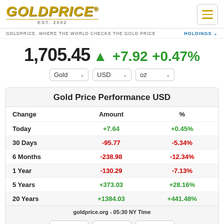GOLDPRICE® EST. 2002
GOLDPRICE. WHERE THE WORLD CHECKS THE GOLD PRICE
1,705.45 ▲ +7.92 +0.47%
| Change | Amount | % |
| --- | --- | --- |
| Today | +7.64 | +0.45% |
| 30 Days | -95.77 | -5.34% |
| 6 Months | -238.98 | -12.34% |
| 1 Year | -130.29 | -7.13% |
| 5 Years | +373.03 | +28.16% |
| 20 Years | +1384.03 | +441.48% |
goldprice.org - 05:30 NY Time